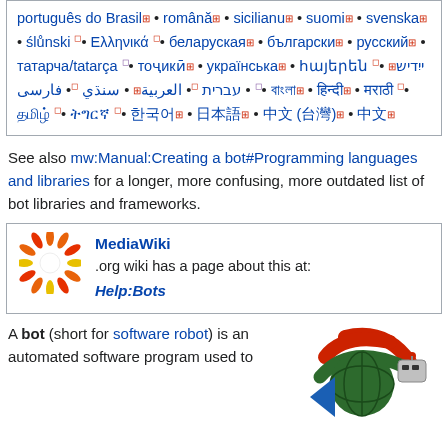português do Brasil • română • sicilianu • suomi • svenska • ślůnski • Ελληνικά • беларуская • български • русский • татарча/tatarça • тоҷикӣ • українська • հայերեն • ייִדיש • עברית • العربية • سنڌي • فارسی • [various scripts] • [CJK scripts]
See also mw:Manual:Creating a bot#Programming languages and libraries for a longer, more confusing, more outdated list of bot libraries and frameworks.
MediaWiki .org wiki has a page about this at: Help:Bots
A bot (short for software robot) is an automated software program used to